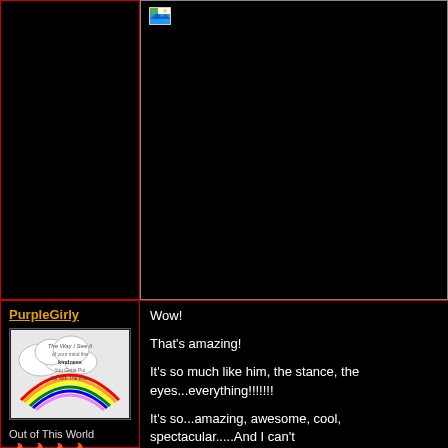[Figure (screenshot): Black top-left panel, part of a forum/blog layout with red border]
[Figure (screenshot): Black top-right panel with broken image icon in upper left, dark image area with thin border]
PurpleGirly
[Figure (illustration): User avatar showing a rainbow and cloud graphic with text overlay]
Out of This World
🔥🔥🔥🔥
Wow!
That's amazing!
It's so much like him, the stance, the eyes...everything!!!!!!!
It's so...amazing, awesome, cool, spectacular.....And I can't